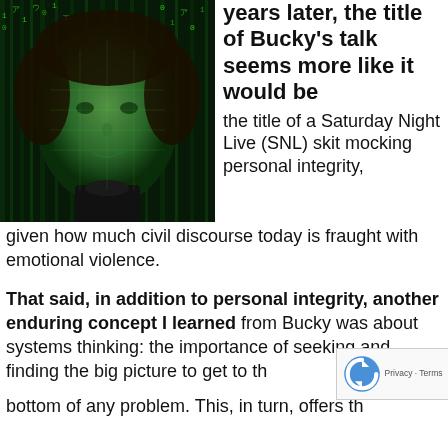[Figure (photo): A woman's face overlaid with a green Matrix-style digital rain background. The face appears green-tinted with cascading code in the background.]
years later, the title of Bucky's talk seems more like it would be the title of a Saturday Night Live (SNL) skit mocking personal integrity, given how much civil discourse today is fraught with emotional violence.
That said, in addition to personal integrity, another enduring concept I learned from Bucky was about systems thinking: the importance of seeking and finding the big picture to get to the bottom of any problem. This, in turn, offers th...